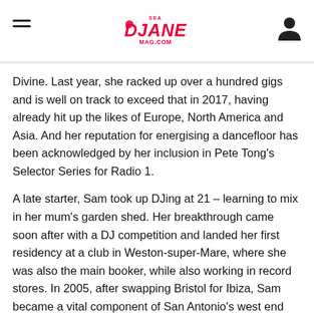SEA DJANE MAG .COM
Divine. Last year, she racked up over a hundred gigs and is well on track to exceed that in 2017, having already hit up the likes of Europe, North America and Asia. And her reputation for energising a dancefloor has been acknowledged by her inclusion in Pete Tong's Selector Series for Radio 1.
A late starter, Sam took up DJing at 21 – learning to mix in her mum's garden shed. Her breakthrough came soon after with a DJ competition and landed her first residency at a club in Weston-super-Mare, where she was also the main booker, while also working in record stores. In 2005, after swapping Bristol for Ibiza, Sam became a vital component of San Antonio's west end (where this year she makes a triumphant return as a resident for Defected at Eden) and has spent every season on the White Isle ever since. During this time, Divine also began working with Defected, who in 2009 signed her to their artist roster. A weekly warm-up at Mambo ensued, opening for legendary names like Kenny Dope and Frankie Knuckles, as well as hosting the weekly Defected Radio show that